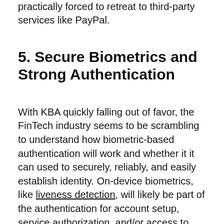practically forced to retreat to third-party services like PayPal.
5. Secure Biometrics and Strong Authentication
With KBA quickly falling out of favor, the FinTech industry seems to be scrambling to understand how biometric-based authentication will work and whether it it can used to securely, reliably, and easily establish identity. On-device biometrics, like liveness detection, will likely be part of the authentication for account setup, service authorization, and/or access to apps and services, but it's still a bit unclear how this will all shake out